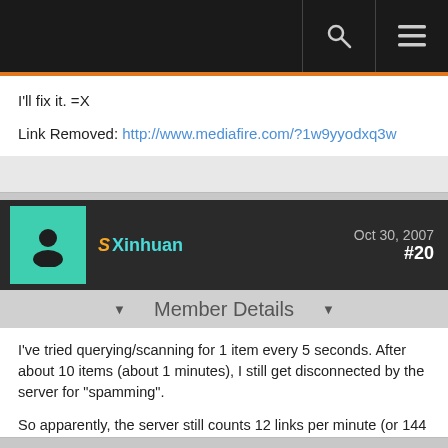Navigation bar with search and menu icons
I'll fix it. =X
Link Removed: http://www.mediafire.com/?1w9yyodxq3w
Xinhuan   Oct 30, 2007   #20
Member Details
I've tried querying/scanning for 1 item every 5 seconds. After about 10 items (about 1 minutes), I still get disconnected by the server for "spamming".
So apparently, the server still counts 12 links per minute (or 144 links per hour) as spam. I decided to stop trying because data mining in such a slow fashion sucks when there are some 35000 IDs to scan through (a bit less after deducting items you already have in your local cache).